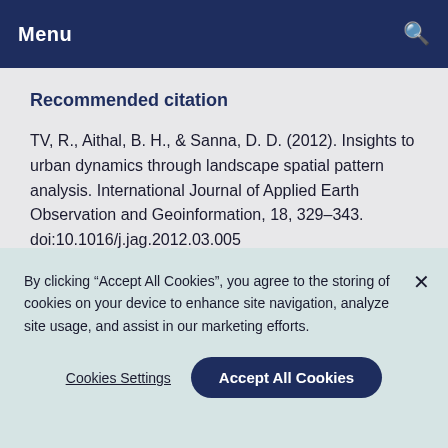Menu
Recommended citation
TV, R., Aithal, B. H., & Sanna, D. D. (2012). Insights to urban dynamics through landscape spatial pattern analysis. International Journal of Applied Earth Observation and Geoinformation, 18, 329–343. doi:10.1016/j.jag.2012.03.005
COPY TO CLIPBOARD
By clicking “Accept All Cookies”, you agree to the storing of cookies on your device to enhance site navigation, analyze site usage, and assist in our marketing efforts.
Cookies Settings
Accept All Cookies